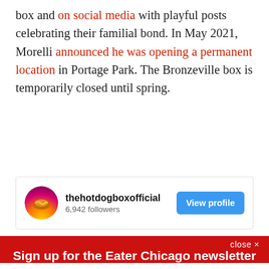box and on social media with playful posts celebrating their familial bond. In May 2021, Morelli announced he was opening a permanent location in Portage Park. The Bronzeville box is temporarily closed until spring.
[Figure (screenshot): Instagram profile card for thehotdogboxofficial showing 6,942 followers and a View profile button]
close ×
Sign up for the Eater Chicago newsletter
The freshest news from the local food world
Email (required)
SUBSCRIBE
By submitting your email, you agree to our Terms and Privacy Notice. You can opt out at any time. This site is protected by reCAPTCHA and the Google Privacy Policy and Terms of Service apply.